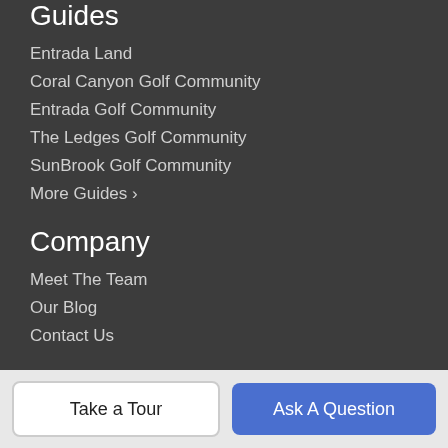Guides
Entrada Land
Coral Canyon Golf Community
Entrada Golf Community
The Ledges Golf Community
SunBrook Golf Community
More Guides >
Company
Meet The Team
Our Blog
Contact Us
Resources
Take a Tour
Ask A Question